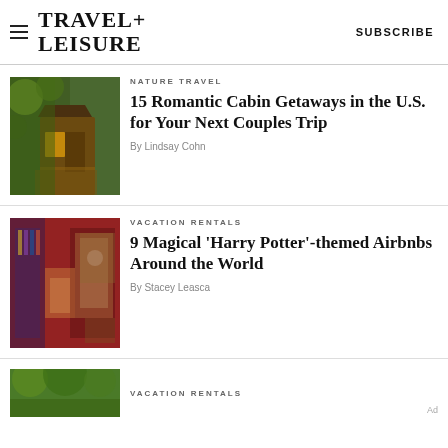TRAVEL+ LEISURE   SUBSCRIBE
[Figure (photo): Cabin in the woods with warm glowing light, surrounded by lush green trees and a wooden stairway path]
NATURE TRAVEL
15 Romantic Cabin Getaways in the U.S. for Your Next Couples Trip
By Lindsay Cohn
[Figure (photo): Interior of a colorful Harry Potter themed Airbnb room with patterned curtains, robes and vintage decor]
VACATION RENTALS
9 Magical 'Harry Potter'-themed Airbnbs Around the World
By Stacey Leasca
[Figure (photo): Partial view of green trees/nature scene, partially cropped at bottom]
VACATION RENTALS